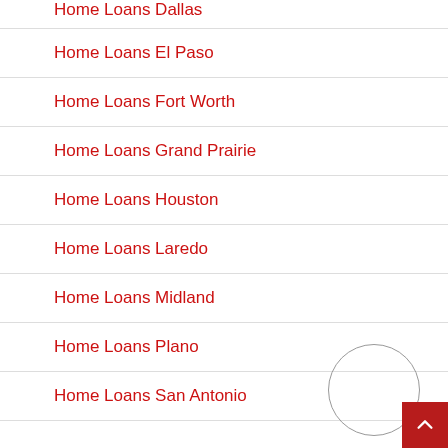Home Loans Dallas
Home Loans El Paso
Home Loans Fort Worth
Home Loans Grand Prairie
Home Loans Houston
Home Loans Laredo
Home Loans Midland
Home Loans Plano
Home Loans San Antonio